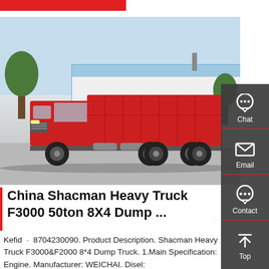[Figure (photo): Red Shacman Heavy Truck F3000 dump truck parked in a lot, side view, with industrial buildings in background]
[Figure (infographic): Sidebar with Chat, Email, Contact, and Top navigation icons on dark grey background]
China Shacman Heavy Truck F3000 50ton 8X4 Dump ...
Kefid · 8704230090. Product Description. Shacman Heavy Truck F3000&F2000 8*4 Dump Truck. 1.Main Specification: Engine. Manufacturer: WEICHAI. Disel: